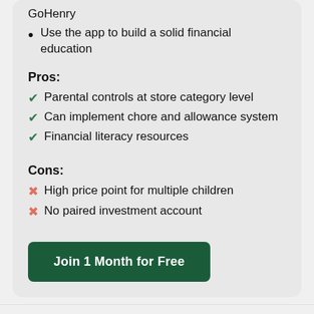GoHenry
Use the app to build a solid financial education
Pros:
Parental controls at store category level
Can implement chore and allowance system
Financial literacy resources
Cons:
High price point for multiple children
No paired investment account
Join 1 Month for Free
Related: GoHenry vs. Greenlight